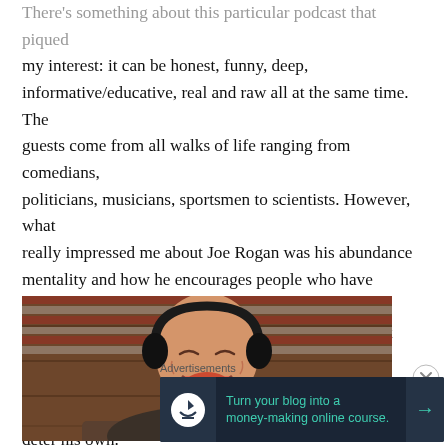There's something about this particular podcast that piqued my interest: it can be honest, funny, deep, informative/educative, real and raw all at the same time. The guests come from all walks of life ranging from comedians, politicians, musicians, sportsmen to scientists. However, what really impressed me about Joe Rogan was his abundance mentality and how he encourages people who have something to say to start their own podcasts. He understands that there's enough room for everyone to excel and their successes won't deter his own.
[Figure (photo): Joe Rogan laughing while wearing headphones, seated in front of an American flag backdrop with wood paneling]
Advertisements
[Figure (infographic): Advertisement banner: Turn your blog into a money-making online course. Dark navy background with teal text and arrow button.]